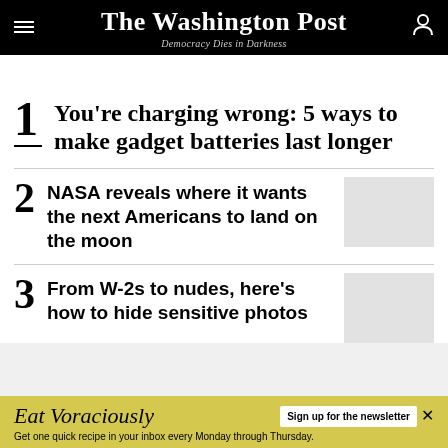The Washington Post — Democracy Dies in Darkness
1 You're charging wrong: 5 ways to make gadget batteries last longer
2 NASA reveals where it wants the next Americans to land on the moon
3 From W-2s to nudes, here's how to hide sensitive photos
[Figure (screenshot): Advertisement banner: Eat Voraciously – Sign up for the newsletter. Get one quick recipe in your inbox every Monday through Thursday.]